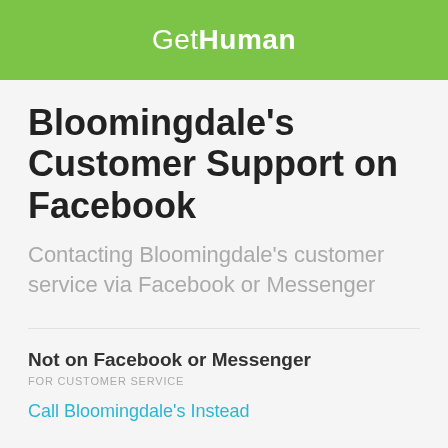GetHuman
Bloomingdale's Customer Support on Facebook
Contacting Bloomingdale's customer service via Facebook or Messenger
Not on Facebook or Messenger
FOR CUSTOMER SERVICE
Call Bloomingdale's Instead